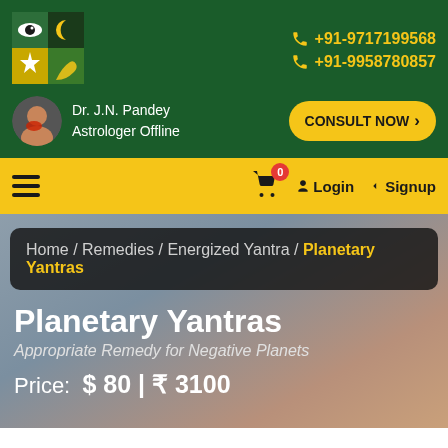[Figure (logo): Astrology website logo with eye, moon, star, and palm symbols in a 2x2 grid with dark green background]
+91-9717199568
+91-9958780857
[Figure (photo): Avatar of Dr. J.N. Pandey, astrologer]
Dr. J.N. Pandey
Astrologer Offline
CONSULT NOW >
[Figure (infographic): Navigation bar with hamburger menu, shopping cart with badge 0, Login and Signup buttons]
Home / Remedies / Energized Yantra / Planetary Yantras
Planetary Yantras
Appropriate Remedy for Negative Planets
Price:  $ 80 | ₹ 3100